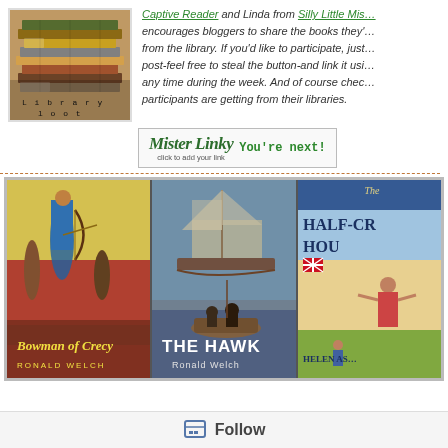[Figure (photo): Stack of library books with 'Library Loot' text overlay]
Captive Reader and Linda from Silly Little Mis… encourages bloggers to share the books they've gotten from the library. If you'd like to participate, just post-feel free to steal the button-and link it using any time during the week. And of course check what participants are getting from their libraries.
[Figure (other): Mister Linky widget button with 'You're next! click to add your link']
[Figure (photo): Three book covers: Bowman of Crecy by Ronald Welch, The Hawk by Ronald Welch, and The Half-Crown House by Helen As…]